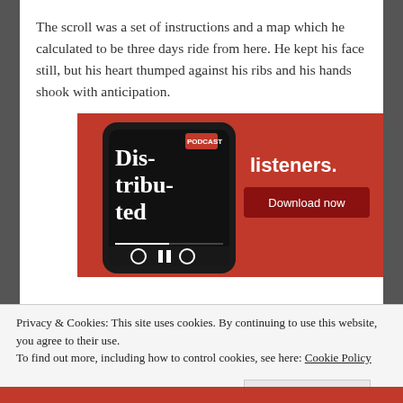The scroll was a set of instructions and a map which he calculated to be three days ride from here. He kept his face still, but his heart thumped against his ribs and his hands shook with anticipation.
[Figure (photo): Advertisement banner showing a smartphone with a podcast app displaying 'Dis-tri-bu-ted' on a red background with text 'listeners.' and a 'Download now' button.]
Privacy & Cookies: This site uses cookies. By continuing to use this website, you agree to their use.
To find out more, including how to control cookies, see here: Cookie Policy
Close and accept